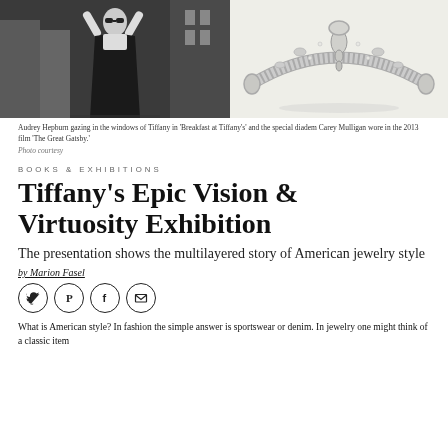[Figure (photo): Black and white photo of Audrey Hepburn gazing in the windows of Tiffany]
[Figure (photo): Photo of a special diadem/tiara with diamonds and pendants - the diadem Carey Mulligan wore in the 2013 film The Great Gatsby]
Audrey Hepburn gazing in the windows of Tiffany in 'Breakfast at Tiffany's' and the special diadem Carey Mulligan wore in the 2013 film 'The Great Gatsby.'
Photo courtesy
BOOKS & EXHIBITIONS
Tiffany's Epic Vision & Virtuosity Exhibition
The presentation shows the multilayered story of American jewelry style
by Marion Fasel
[Figure (infographic): Social media sharing icons: Twitter, Pinterest, Facebook, Email]
What is American style? In fashion the simple answer is sportswear or denim. In jewelry one might think of a classic item